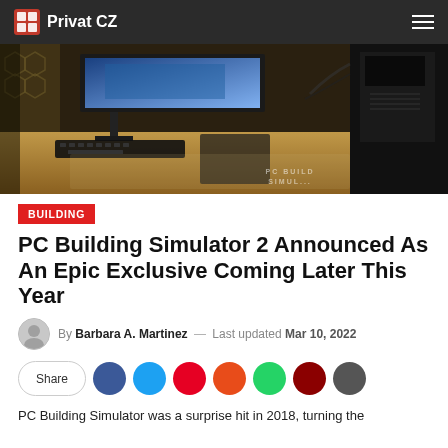Privat CZ
[Figure (photo): PC Building Simulator game screenshot showing a wooden desk with a monitor, keyboard, mouse pad, and a PC tower case. A mat reads 'PC Building Simulator'.]
BUILDING
PC Building Simulator 2 Announced As An Epic Exclusive Coming Later This Year
By Barbara A. Martinez — Last updated Mar 10, 2022
Share
PC Building Simulator was a surprise hit in 2018, turning the